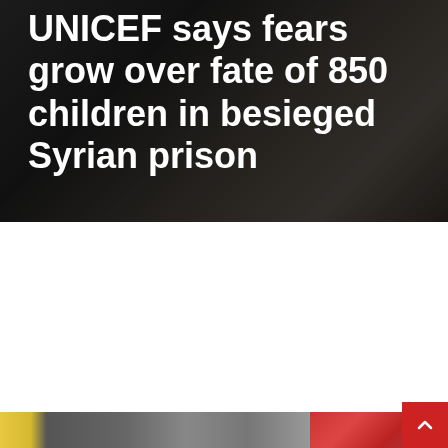[Figure (photo): Dark background photo (appears to be debris or ground scene) with large white bold headline text overlaid: 'UNICEF says fears grow over fate of 850 children in besieged Syrian prison']
UNICEF says fears grow over fate of 850 children in besieged Syrian prison
[Figure (photo): Partial view of a photo at the bottom of the page, partially cut off, showing what appears to be people, with colorful clothing visible on the left side and a darker scene on the right.]